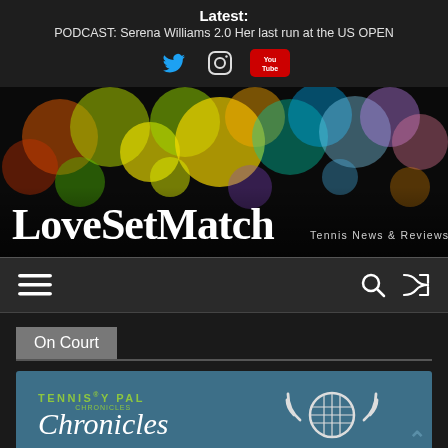Latest: PODCAST: Serena Williams 2.0 Her last run at the US OPEN
[Figure (illustration): LoveSetMatch website banner with colorful bokeh light circles on dark background, site title LoveSetMatch with tagline Tennis News & Reviews with Love]
[Figure (infographic): Navigation bar with hamburger menu icon on left, search icon and shuffle icon on right]
On Court
[Figure (illustration): Tennis Pal Chronicles article card on teal/blue background with tennis racket radio broadcast icon on right]